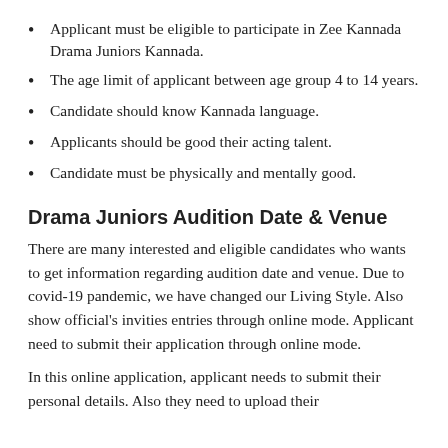Applicant must be eligible to participate in Zee Kannada Drama Juniors Kannada.
The age limit of applicant between age group 4 to 14 years.
Candidate should know Kannada language.
Applicants should be good their acting talent.
Candidate must be physically and mentally good.
Drama Juniors Audition Date & Venue
There are many interested and eligible candidates who wants to get information regarding audition date and venue. Due to covid-19 pandemic, we have changed our Living Style. Also show official's invities entries through online mode. Applicant need to submit their application through online mode.
In this online application, applicant needs to submit their personal details. Also they need to upload their